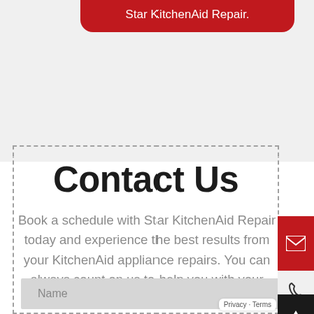Star KitchenAid Repair.
Contact Us
Book a schedule with Star KitchenAid Repair today and experience the best results from your KitchenAid appliance repairs. You can always count on us to help you with your appliance troubles.
Name